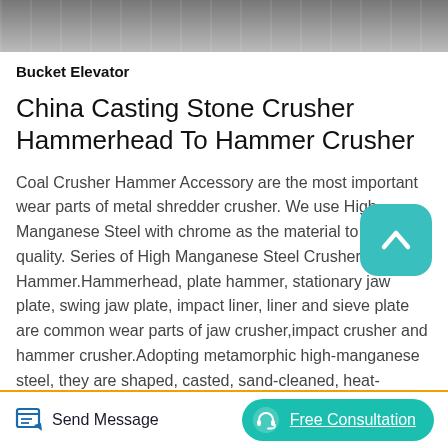[Figure (photo): Close-up photo of metal parts, appears to be industrial crusher components or steel pieces, grey/silver tones]
Bucket Elevator
China Casting Stone Crusher Hammerhead To Hammer Crusher
Coal Crusher Hammer Accessory are the most important wear parts of metal shredder crusher. We use High Manganese Steel with chrome as the material to make the quality. Series of High Manganese Steel Crusher Hammer.Hammerhead, plate hammer, stationary jaw plate, swing jaw plate, impact liner, liner and sieve plate are common wear parts of jaw crusher,impact crusher and hammer crusher.Adopting metamorphic high-manganese steel, they are shaped, casted, sand-cleaned, heat-treated, and added with a composite modifier to perform graded
Send Message   Free Consultation